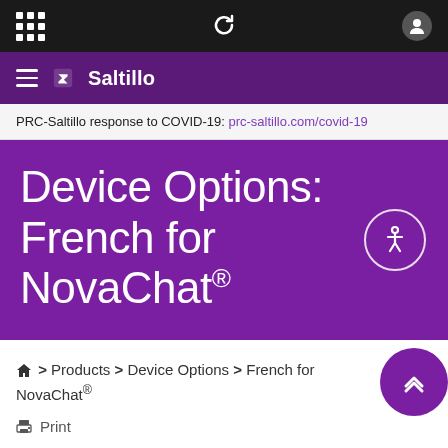[Figure (screenshot): Black top navigation bar with grid icon, refresh/loop icon, and user account icon]
≡ Saltillo
PRC-Saltillo response to COVID-19: prc-saltillo.com/covid-19
Device Options: French for NovaChat®
⌂ > Products > Device Options > French for NovaChat®
Print